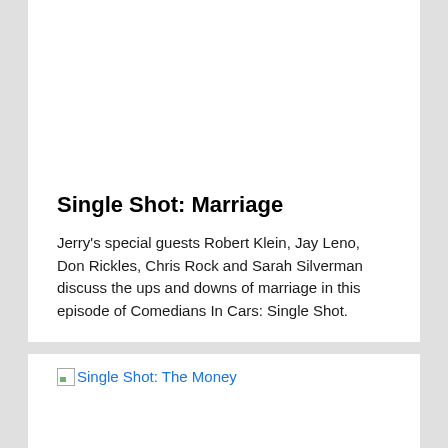Single Shot: Marriage
Jerry's special guests Robert Klein, Jay Leno, Don Rickles, Chris Rock and Sarah Silverman discuss the ups and downs of marriage in this episode of Comedians In Cars: Single Shot.
Single Shot: The Money